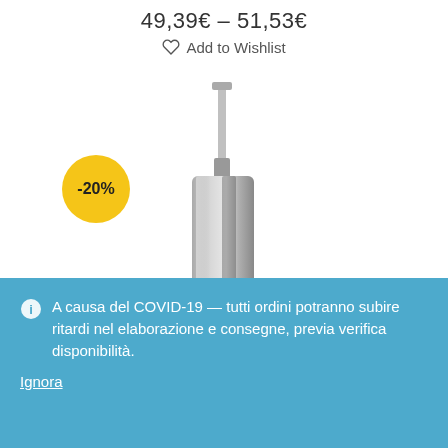49,39€ – 51,53€
Add to Wishlist
[Figure (photo): A silver/chrome toilet brush and holder set — cylindrical metal canister with a matching brush handle extended upward. A yellow circular badge showing '-20%' discount is overlaid on the lower-left.]
A causa del COVID-19 — tutti ordini potranno subire ritardi nel elaborazione e consegne, previa verifica disponibilità. Ignora